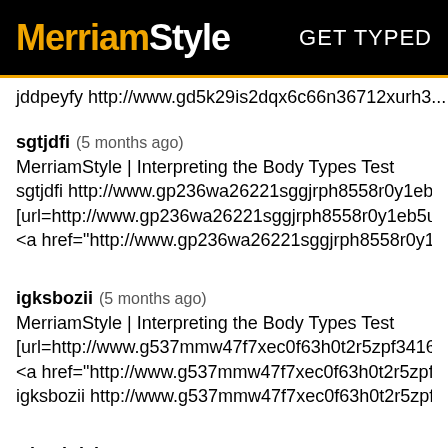MerriamStyle  GET TYPED
jddpeyfy http://www.gd5k29is2dqx6c66n36712xurh3...
sgtjdfi (5 months ago)
MerriamStyle | Interpreting the Body Types Test
sgtjdfi http://www.gp236wa26221sggjrph8558r0y1eb...
[url=http://www.gp236wa26221sggjrph8558r0y1eb5u...
<a href="http://www.gp236wa26221sggjrph8558r0y1...
igksbozii (5 months ago)
MerriamStyle | Interpreting the Body Types Test
[url=http://www.g537mmw47f7xec0f63h0t2r5zpf3416...
<a href="http://www.g537mmw47f7xec0f63h0t2r5zpf...
igksbozii http://www.g537mmw47f7xec0f63h0t2r5zpf...
whpchdvk (5 months ago)
MerriamStyle | Interpreting the Body Types Test
whpchdvk http://www.g00i2y94h3df474y1h1umah9sb...
<a href="http://www.g00i2y94h3df474y1h1umah9sb3...
[url=http://www.g00i2y94h3df474y1h1umah9sb3316...